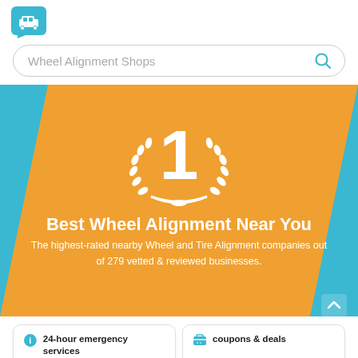[Figure (logo): Teal speech bubble with car icon logo]
[Figure (screenshot): Search bar with placeholder text 'Wheel Alignment Shops' and a search icon]
[Figure (infographic): Hero section with teal and orange diagonal background, award badge with number 1 and laurel wreath in white]
Best Wheel Alignment Near You
The highest-rated nearby Wheel and Tire Alignment companies out of 279 vetted & reviewed businesses.
24-hour emergency services
coupons & deals